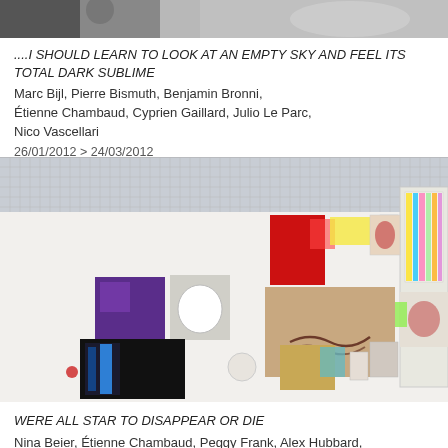[Figure (photo): Top portion of exhibition photo, partially visible, showing figures in dark and light tones]
....I SHOULD LEARN TO LOOK AT AN EMPTY SKY AND FEEL ITS TOTAL DARK SUBLIME
Marc Bijl, Pierre Bismuth, Benjamin Bronni, Étienne Chambaud, Cyprien Gaillard, Julio Le Parc, Nico Vascellari
26/01/2012 > 24/03/2012
[Figure (photo): Gallery installation photo showing numerous artworks pinned or hung on a white wall, with colorful and monochrome pieces, and windows/gridded panels visible at top]
WERE ALL STAR TO DISAPPEAR OR DIE
Nina Beier, Étienne Chambaud, Peggy Frank, Alex Hubbard, Pamela Rosenkranz, Ryan Sullivan
18/11/2011 > 07/01/2012